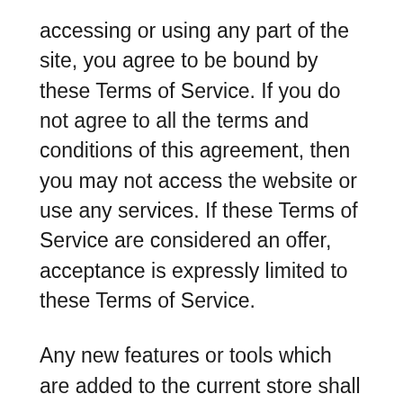accessing or using any part of the site, you agree to be bound by these Terms of Service. If you do not agree to all the terms and conditions of this agreement, then you may not access the website or use any services. If these Terms of Service are considered an offer, acceptance is expressly limited to these Terms of Service.
Any new features or tools which are added to the current store shall also be subject to the Terms of Service. You can review the most current version of the Terms of Service at any time on this page. We reserve the right to update, change or replace any part of these Terms of Service by posting updates